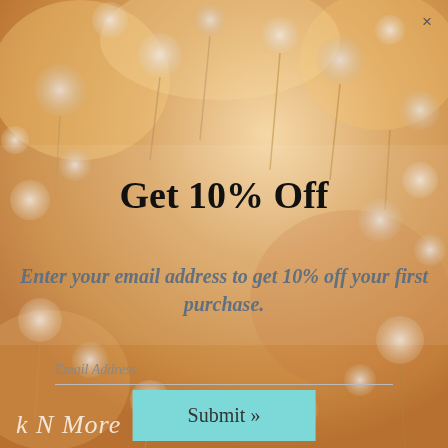[Figure (photo): Background photo of dried wildflowers with soft orange and warm bokeh tones]
Get 10% Off
Enter your email address to get 10% off your first purchase.
Email Address
Submit »
k N More